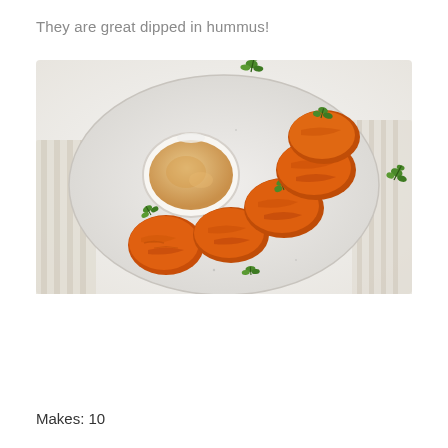They are great dipped in hummus!
[Figure (photo): Overhead photo of orange crispy carrot fritters/patties arranged on a round white speckled ceramic plate, with a small white ramekin of hummus in the center-left of the plate. Fresh green cilantro leaves are scattered on the fritters and plate. The plate sits on a white linen cloth background, with a few cilantro leaves visible off the plate to the right.]
Makes: 10